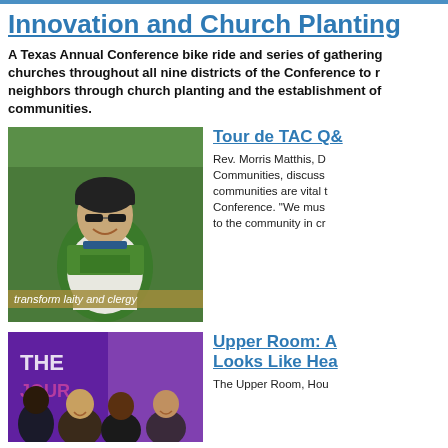Innovation and Church Planting
A Texas Annual Conference bike ride and series of gatherings churches throughout all nine districts of the Conference to reach neighbors through church planting and the establishment of communities.
[Figure (photo): Man in bicycle helmet and green cycling jersey smiling outdoors with trees in background. Caption bar reads: transform laity and clergy]
Tour de TAC Q&
Rev. Morris Matthis, D Communities, discuss communities are vital t Conference. "We mus to the community in cr
[Figure (photo): Group of smiling people at an event with purple backdrop and text partially visible reading THE JOURNEY]
Upper Room: A Looks Like Hea
The Upper Room, Hou